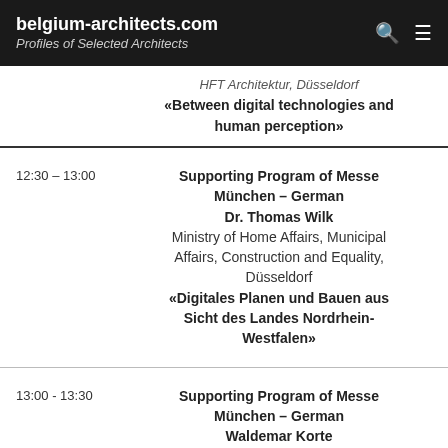belgium-architects.com
Profiles of Selected Architects
HFT Architektur, Düsseldorf
«Between digital technologies and human perception»
12:30 – 13:00
Supporting Program of Messe München – German
Dr. Thomas Wilk
Ministry of Home Affairs, Municipal Affairs, Construction and Equality, Düsseldorf
«Digitales Planen und Bauen aus Sicht des Landes Nordrhein-Westfalen»
13:00 - 13:30
Supporting Program of Messe München – German
Waldemar Korte
MENSE-KORTE,